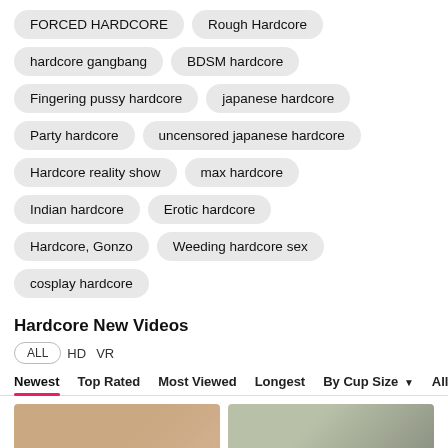FORCED HARDCORE
Rough Hardcore
hardcore gangbang
BDSM hardcore
Fingering pussy hardcore
japanese hardcore
Party hardcore
uncensored japanese hardcore
Hardcore reality show
max hardcore
Indian hardcore
Erotic hardcore
Hardcore, Gonzo
Weeding hardcore sex
cosplay hardcore
Hardcore New Videos
ALL  HD  VR
Newest  Top Rated  Most Viewed  Longest  By Cup Size  All
[Figure (photo): Two partial thumbnail images at the bottom of the page]